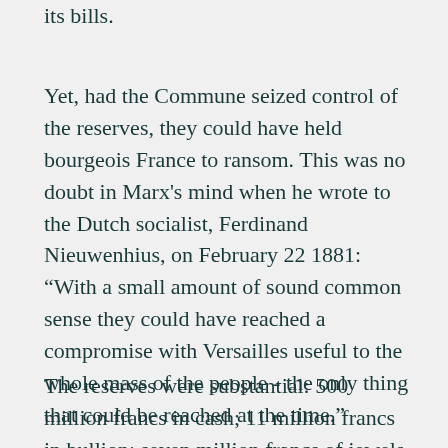its bills.
Yet, had the Commune seized control of the reserves, they could have held bourgeois France to ransom. This was no doubt in Marx's mind when he wrote to the Dutch socialist, Ferdinand Nieuwenhius, on February 22 1881: “With a small amount of sound common sense they could have reached a compromise with Versailles useful to the whole mass of the people - the only thing that could be reached at the time.”
The reserves were substantial: 500 million francs in cash; 11 million francs in bullion; seven million francs of jewels held on deposit; and one billion